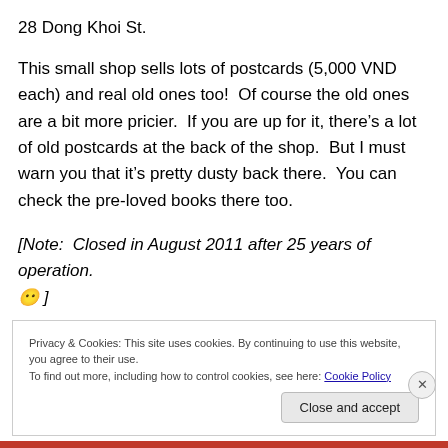28 Dong Khoi St.
This small shop sells lots of postcards (5,000 VND each) and real old ones too!  Of course the old ones are a bit more pricier.  If you are up for it, there's a lot of old postcards at the back of the shop.  But I must warn you that it's pretty dusty back there.  You can check the pre-loved books there too.
[Note:  Closed in August 2011 after 25 years of operation. 😦 ]
Privacy & Cookies: This site uses cookies. By continuing to use this website, you agree to their use.
To find out more, including how to control cookies, see here: Cookie Policy
Close and accept